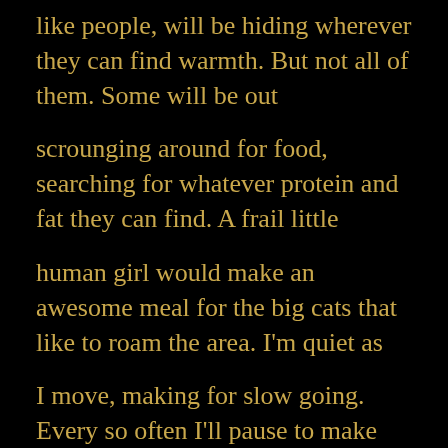like people, will be hiding wherever they can find warmth. But not all of them. Some will be out
scrounging around for food, searching for whatever protein and fat they can find. A frail little
human girl would make an awesome meal for the big cats that like to roam the area. I'm quiet as
I move, making for slow going. Every so often I'll pause to make sure there isn't anything
moving out there, or worse, stalking me. I'll listen and watch and wait, then when I decide it's